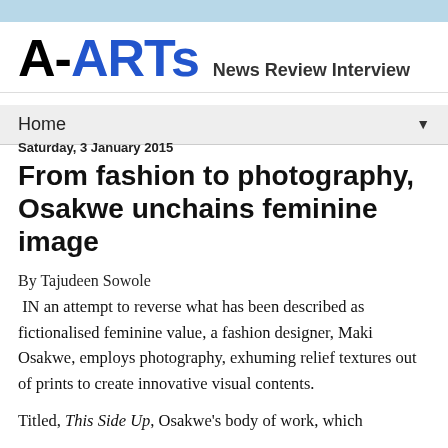A-ARTs News Review Interview
Home
Saturday, 3 January 2015
From fashion to photography, Osakwe unchains feminine image
By Tajudeen Sowole
IN an attempt to reverse what has been described as fictionalised feminine value, a fashion designer, Maki Osakwe, employs photography, exhuming relief textures out of prints to create innovative visual contents.
Titled, This Side Up, Osakwe's body of work, which